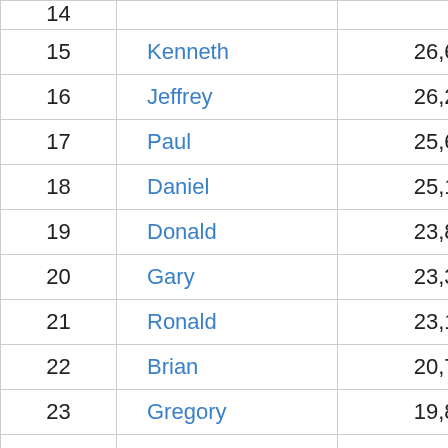| Rank | Name | Count |
| --- | --- | --- |
| 15 | Kenneth | 26,634 |
| 16 | Jeffrey | 26,267 |
| 17 | Paul | 25,699 |
| 18 | Daniel | 25,134 |
| 19 | Donald | 23,864 |
| 20 | Gary | 23,300 |
| 21 | Ronald | 23,110 |
| 22 | Brian | 20,731 |
| 23 | Gregory | 19,871 |
| 24 | Scott | 19,761 |
| 25 | Larry | 18,417 |